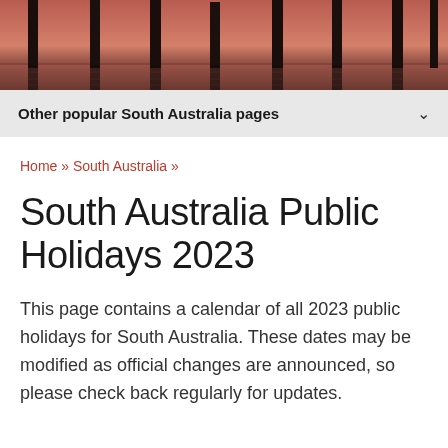[Figure (photo): Sunset/dusk photograph of vertical dark poles or pillars reflected in water with pink-orange background sky]
Other popular South Australia pages
Home » South Australia »
South Australia Public Holidays 2023
This page contains a calendar of all 2023 public holidays for South Australia. These dates may be modified as official changes are announced, so please check back regularly for updates.